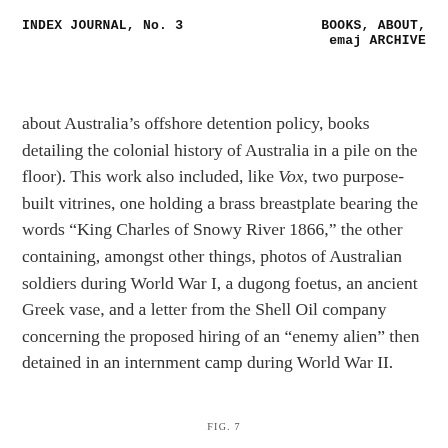INDEX JOURNAL, No. 3    BOOKS, ABOUT, emaj ARCHIVE
about Australia’s offshore detention policy, books detailing the colonial history of Australia in a pile on the floor). This work also included, like Vox, two purpose-built vitrines, one holding a brass breastplate bearing the words “King Charles of Snowy River 1866,” the other containing, amongst other things, photos of Australian soldiers during World War I, a dugong foetus, an ancient Greek vase, and a letter from the Shell Oil company concerning the proposed hiring of an “enemy alien” then detained in an internment camp during World War II.
FIG. 7